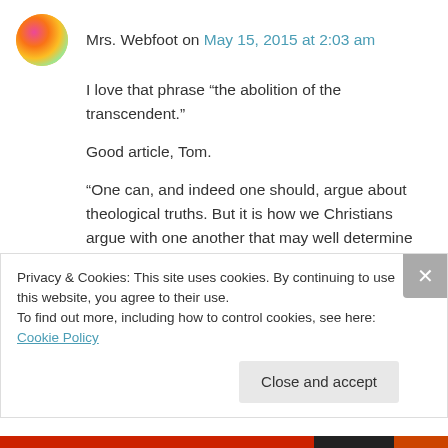Mrs. Webfoot on May 15, 2015 at 2:03 am
I love that phrase “the abolition of the transcendent.”
Good article, Tom.
“One can, and indeed one should, argue about theological truths. But it is how we Christians argue with one another that may well determine the future of Christianity. ”
Privacy & Cookies: This site uses cookies. By continuing to use this website, you agree to their use.
To find out more, including how to control cookies, see here: Cookie Policy
Close and accept